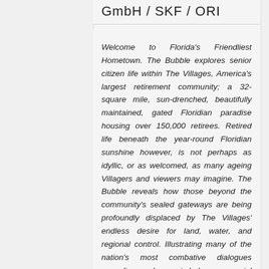GmbH / SKF / ORI
Welcome to Florida's Friendliest Hometown. The Bubble explores senior citizen life within The Villages, America's largest retirement community; a 32-square mile, sun-drenched, beautifully maintained, gated Floridian paradise housing over 150,000 retirees. Retired life beneath the year-round Floridian sunshine however, is not perhaps as idyllic, or as welcomed, as many ageing Villagers and viewers may imagine. The Bubble reveals how those beyond the community's sealed gateways are being profoundly displaced by The Villages' endless desire for land, water, and regional control. Illustrating many of the nation's most combative dialogues regarding class imbalance, racial inequality, healthcare privatisation, political affiliation, state responsibility, and civic obligation, The Bubble offers viewers an engaging